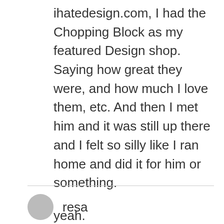ihatedesign.com, I had the Chopping Block as my featured Design shop. Saying how great they were, and how much I love them, etc. And then I met him and it was still up there and I felt so silly like I ran home and did it for him or something.
yeah.
It’s gone now.
Reply
resa